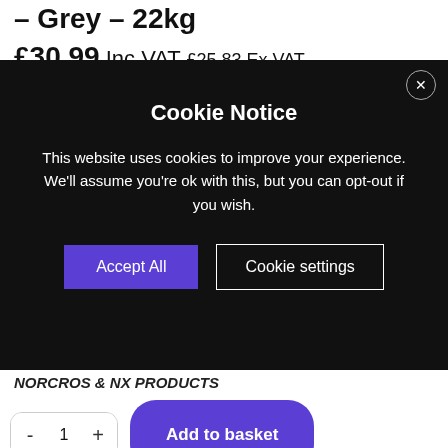– Grey – 22kg
£30.99 Inc VAT £25.83 Ex VAT
Buy 50 bags or more for £25.00+vat
Cookie Notice

This website uses cookies to improve your experience. We'll assume you're ok with this, but you can opt-out if you wish.

[Accept All] [Cookie settings]
NORCROS & NX PRODUCTS
- 1 + Add to basket